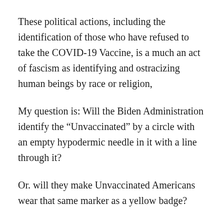These political actions, including the identification of those who have refused to take the COVID-19 Vaccine, is a much an act of fascism as identifying and ostracizing human beings by race or religion,
My question is: Will the Biden Administration identify the “Unvaccinated” by a circle with an empty hypodermic needle in it with a line through it?
Or. will they make Unvaccinated Americans wear that same marker as a yellow badge?
Until He Comes,